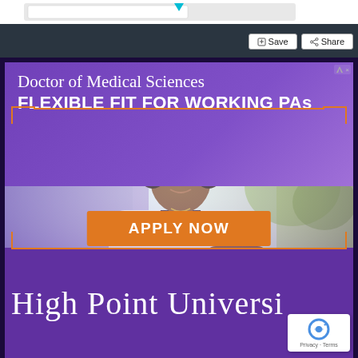[Figure (screenshot): Top browser UI bar with cyan border and dark background, showing Save and Share buttons]
[Figure (illustration): Advertisement for High Point University Doctor of Medical Sciences program. Shows a Black woman in a white lab coat looking at a laptop, overlaid on purple background. Text reads: Doctor of Medical Sciences, FLEXIBLE FIT FOR WORKING PAs, APPLY NOW. Bottom shows HIGH POINT UNIVERSI[TY] logo in serif font on purple background.]